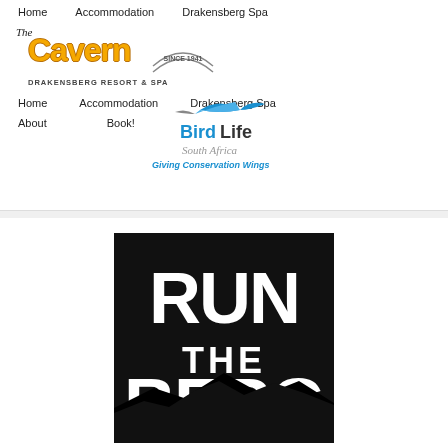Home  Accommodation  Drakensberg Spa
[Figure (logo): The Cavern Drakensberg Resort & Spa logo with 'Since 1941' banner]
Home  Accommodation  Drakensberg Spa  About  Book!
[Figure (logo): BirdLife South Africa logo with tagline 'Giving Conservation Wings']
[Figure (logo): Run The Berg event logo in black and white]